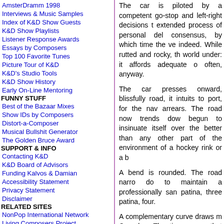AmsterDramm 1998
Interviews & Music Samples
Index of K&D Show Guests
K&D Show Playlists
Listener Response Awards
Essays by Composers
Top 100 Favorite Tunes
Picture Tour of K&D
K&D's Studio Tools
K&D Show History
Early On-Line Mentoring
FUNNY STUFF
Best of the Bazaar Mixes
Show IDs by Composers
Distort-a-Composer
Musical Bullshit Generator
The Golden Bruce Award
SUPPORT & INFO
Contacting K&D
K&D Board of Advisors
Funding Kalvos & Damian
Accessibility Statement
Privacy Statement
Disclaimer
RELATED SITES
NonPop International Network
Living Composers Project
WGDR-FM 91.1
V C M E
Vermont Composers
Malted/Media Productions
The car is piloted by a competent go-stop and left-right decisions t extended process of personal del consensus, by which time the ve indeed. While rutted and rocky, th world under: it affords adequate o often, anyway.
The car presses onward, blissfully road, it intuits to port, for the nav arrears. The road now trends dow begun to insinuate itself over the better than any other part of the environment of a hockey rink or a b
A bend is rounded. The road narro do to maintain a professionally san patina, three patina, four.
A complementary curve draws m Capades. The tires sense that the and that it is time to alert the "ce through the chaotic muddle that is feathering of the brake pedal. But t too late."
Sirenlike, a tree by the side of the wheel more vigorously than a Bois nylon cords, "too late!" All parts of way they'd expected it to do when says howdy! a bit too enthusiastica